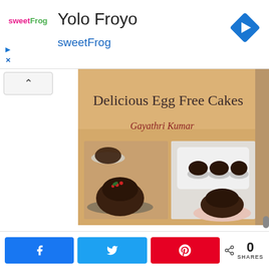[Figure (screenshot): Ad banner for Yolo Froyo / sweetFrog with logo, navigation diamond icon, and play/close controls]
Yolo Froyo
sweetFrog
[Figure (photo): Book cover of 'Delicious Egg Free Cakes' by Gayathri Kumar, showing chocolate cakes and cupcakes on a warm background]
[Figure (screenshot): Social share bar with Facebook, Twitter, Pinterest share buttons and share count showing 0 SHARES]